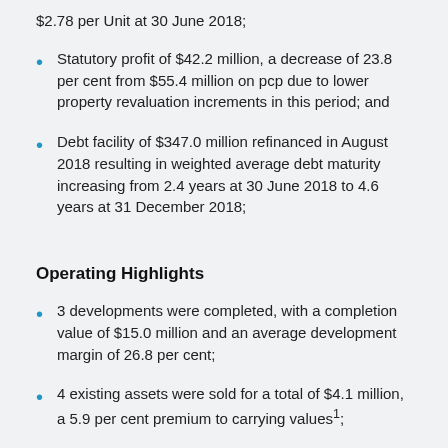$2.78 per Unit at 30 June 2018;
Statutory profit of $42.2 million, a decrease of 23.8 per cent from $55.4 million on pcp due to lower property revaluation increments in this period; and
Debt facility of $347.0 million refinanced in August 2018 resulting in weighted average debt maturity increasing from 2.4 years at 30 June 2018 to 4.6 years at 31 December 2018;
Operating Highlights
3 developments were completed, with a completion value of $15.0 million and an average development margin of 26.8 per cent;
4 existing assets were sold for a total of $4.1 million, a 5.9 per cent premium to carrying values1;